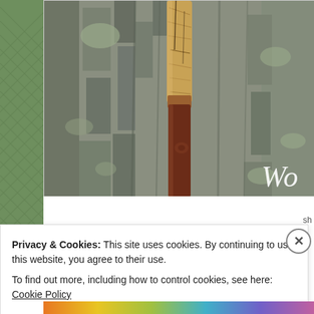[Figure (photo): Close-up photo of a walking stick or cane with laminated wood (light-colored spalted wood on top, dark reddish-brown wood on bottom) leaning against rough bark of a large tree. The partial text 'Wo' is visible in white italic serif font in the bottom-right corner of the image.]
Privacy & Cookies: This site uses cookies. By continuing to use this website, you agree to their use.
To find out more, including how to control cookies, see here: Cookie Policy
Close and accept